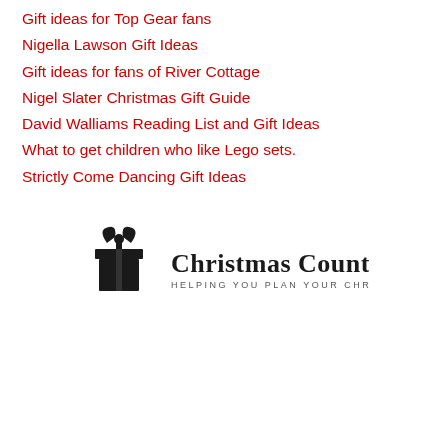Gift ideas for Top Gear fans
Nigella Lawson Gift Ideas
Gift ideas for fans of River Cottage
Nigel Slater Christmas Gift Guide
David Walliams Reading List and Gift Ideas
What to get children who like Lego sets.
Strictly Come Dancing Gift Ideas
[Figure (logo): Christmas Countdown logo with gift box icon and text 'Christmas Countdown — HELPING YOU PLAN YOUR CHRISTMAS']